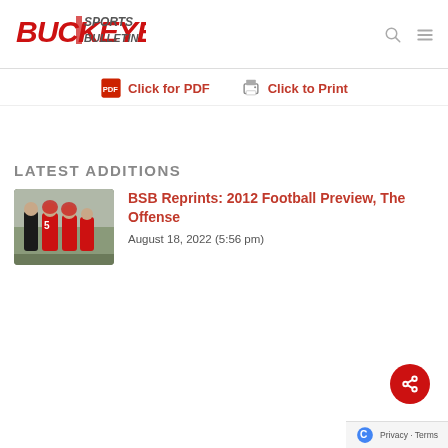Buckeye Sports Bulletin
Click for PDF   Click to Print
LATEST ADDITIONS
[Figure (photo): Football players in red uniforms including player #5 with a coach on a field]
BSB Reprints: 2012 Football Preview, The Offense
August 18, 2022 (5:56 pm)